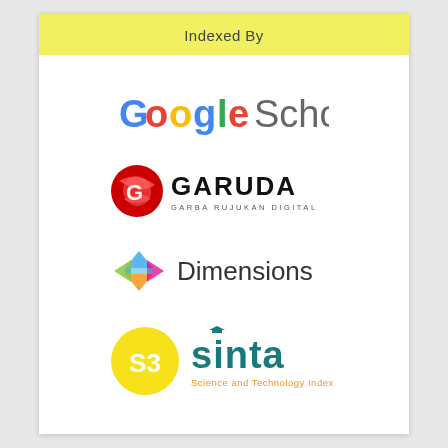Indexed By
[Figure (logo): Google Scholar logo with Google multicolor text and Scholar in gray]
[Figure (logo): GARUDA (Garba Rujukan Digital) logo with red bird icon and bold black GARUDA text]
[Figure (logo): Dimensions logo with colorful geometric diamond icon and Dimensions text]
[Figure (logo): Sinta S3 logo with yellow circle S3 badge and teal sinta text, Science and Technology Index subtitle in orange]